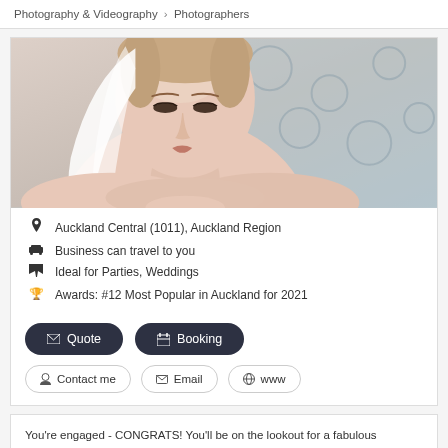Photography & Videography > Photographers
[Figure (photo): Close-up photo of a bride in a white veil looking downward, with a blue and white patterned background]
Auckland Central (1011), Auckland Region
Business can travel to you
Ideal for Parties, Weddings
Awards: #12 Most Popular in Auckland for 2021
✉ Quote   📅 Booking
👤 Contact me   ✉ Email   🌐 www
You're engaged - CONGRATS! You'll be on the lookout for a fabulous photographer to catch your most important memories. Being part of one